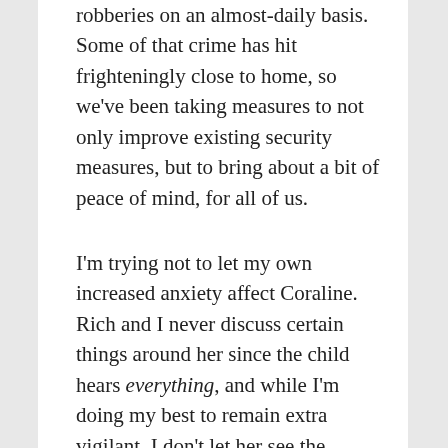robberies on an almost-daily basis. Some of that crime has hit frighteningly close to home, so we've been taking measures to not only improve existing security measures, but to bring about a bit of peace of mind, for all of us.
I'm trying not to let my own increased anxiety affect Coraline. Rich and I never discuss certain things around her since the child hears everything, and while I'm doing my best to remain extra vigilant, I don't let her see the measures I'm taking to do so. It's a fine line to walk these days: We need to live our life, but also be aware of everything going on